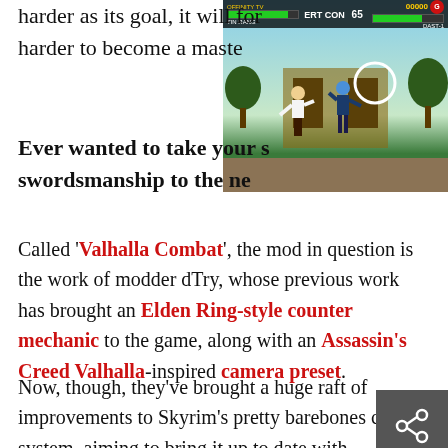harder as its goal, it will for harder to become a master
[Figure (screenshot): A Mortal Kombat-style fighting game screenshot with two fighters, HUD bars, and score display]
Ever wanted to take your swordsmanship to the ne
Called ‘Valhalla Combat’, the mod in question is the work of modder dTry, whose previous work has brought an Elden Ring-style counter mechanic to the game, along with an Assassin’s Creed Valhalla-inspired camera preset.
Now, though, they’ve brought a huge raft of improvements to Skyrim’s pretty barebones combat system, aiming to bring it up to date with